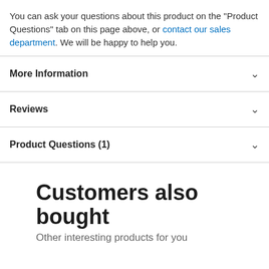You can ask your questions about this product on the "Product Questions" tab on this page above, or contact our sales department. We will be happy to help you.
More Information
Reviews
Product Questions (1)
Customers also bought
Other interesting products for you